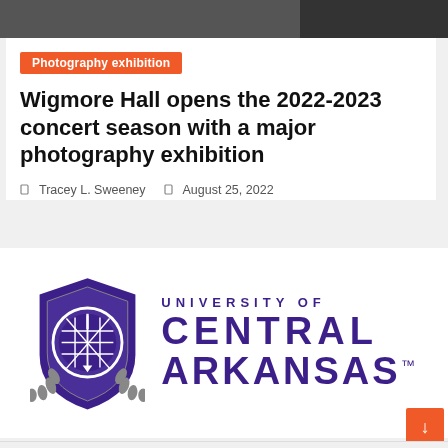[Figure (photo): Top banner image strip showing a dark photograph, partially visible]
Photography exhibition
Wigmore Hall opens the 2022-2023 concert season with a major photography exhibition
Tracey L. Sweeney   August 25, 2022
[Figure (logo): University of Central Arkansas logo with purple shield crest and text UNIVERSITY OF CENTRAL ARKANSAS]